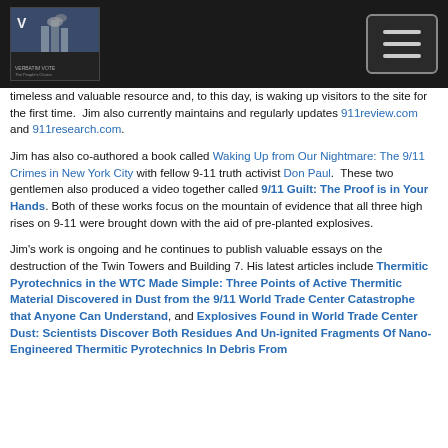[Logo and navigation header]
timeless and valuable resource and, to this day, is waking up visitors to the site for the first time.  Jim also currently maintains and regularly updates 911review.com and 911research.com.
Jim has also co-authored a book called Waking Up from Our Nightmare: The 9/11 Crimes in New York City with fellow 9-11 truth activist Don Paul.  These two gentlemen also produced a video together called 9/11 Guilt: The Proof is in Your Hands. Both of these works focus on the mountain of evidence that all three high rises on 9-11 were brought down with the aid of pre-planted explosives.
Jim's work is ongoing and he continues to publish valuable essays on the destruction of the Twin Towers and Building 7. His latest articles include Thermitic Pyrotechnics in the WTC Made Simple: Three Points of Active Thermitic Material Discovered in Dust from the 9/11 World Trade Center Catastrophe that Anyone Can Understand, and Explosives Found in World Trade Center Dust: Scientists Discover Both Residues And Un-ignited Fragments Of Nano-Engineered Thermitic Pyrotechnics In Debris From...